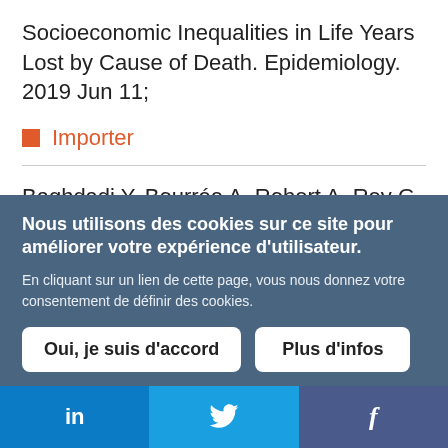Socioeconomic Inequalities in Life Years Lost by Cause of Death. Epidemiology. 2019 Jun 11;
Importer
Baghdadi Y, Bourrée A, Robert A, Rey G, Gallay A, Zweigenbaum P, et al. Automatic classification of free-text medical causes from
Nous utilisons des cookies sur ce site pour améliorer votre expérience d'utilisateur.
En cliquant sur un lien de cette page, vous nous donnez votre consentement de définir des cookies.
Oui, je suis d'accord
Plus d'infos
in
f